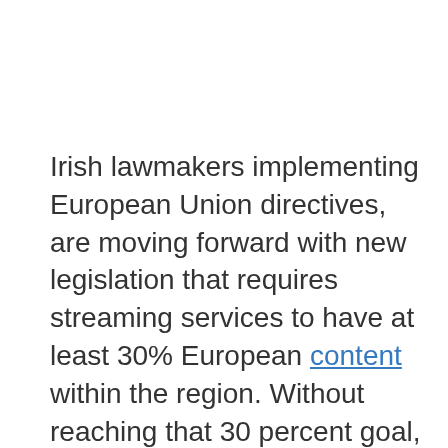Irish lawmakers implementing European Union directives, are moving forward with new legislation that requires streaming services to have at least 30% European content within the region. Without reaching that 30 percent goal, streaming services like Apple TV+, Netflix, Amazon Prime Video, and others could be shut down in the European Union.
If ratified, the new legislation would make some changes happen right out of the gate. First, a new Irish Media Commission would regulate the